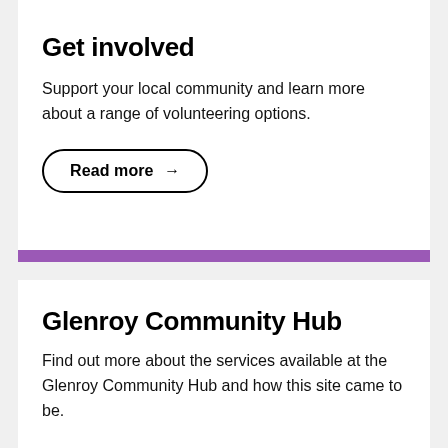Get involved
Support your local community and learn more about a range of volunteering options.
Read more →
Glenroy Community Hub
Find out more about the services available at the Glenroy Community Hub and how this site came to be.